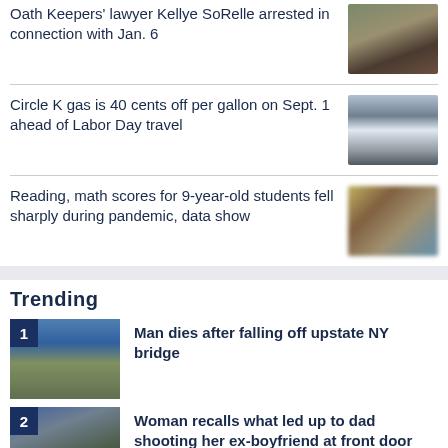Oath Keepers' lawyer Kellye SoRelle arrested in connection with Jan. 6
[Figure (photo): Headshot of Kellye SoRelle, a woman with dark hair]
Circle K gas is 40 cents off per gallon on Sept. 1 ahead of Labor Day travel
[Figure (photo): Cars at a Circle K gas station]
Reading, math scores for 9-year-old students fell sharply during pandemic, data show
[Figure (photo): Blurred classroom or students image]
Trending
1
[Figure (photo): A bridge over water, upstate NY]
Man dies after falling off upstate NY bridge
2
[Figure (photo): A woman, person photo]
Woman recalls what led up to dad shooting her ex-boyfriend at front door